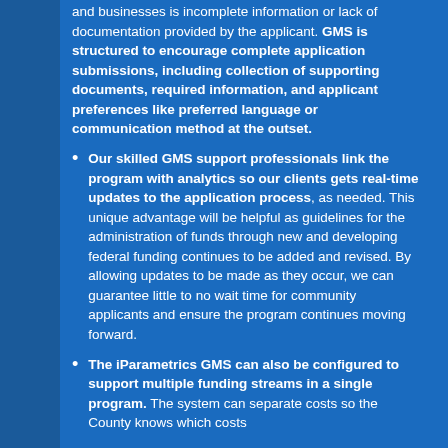and businesses is incomplete information or lack of documentation provided by the applicant. GMS is structured to encourage complete application submissions, including collection of supporting documents, required information, and applicant preferences like preferred language or communication method at the outset.
Our skilled GMS support professionals link the program with analytics so our clients gets real-time updates to the application process, as needed. This unique advantage will be helpful as guidelines for the administration of funds through new and developing federal funding continues to be added and revised. By allowing updates to be made as they occur, we can guarantee little to no wait time for community applicants and ensure the program continues moving forward.
The iParametrics GMS can also be configured to support multiple funding streams in a single program. The system can separate costs so the County knows which costs